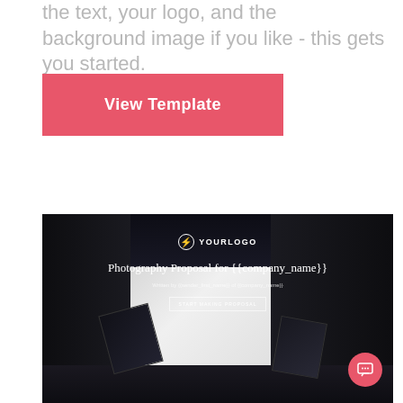the text, your logo, and the background image if you like - this gets you started.
[Figure (screenshot): Pink 'View Template' button with rounded rectangle appearance on white background]
[Figure (screenshot): Screenshot of a photography proposal template webpage showing a dark photography studio background with professional lighting equipment, YOURLOGO branding, title 'Photography Proposal for {{company_name}}', subtitle 'Written by {{sender_first_name}} of {{company_name}}', a 'START MAKING PROPOSAL' button, and a pink chat widget in the bottom right corner.]